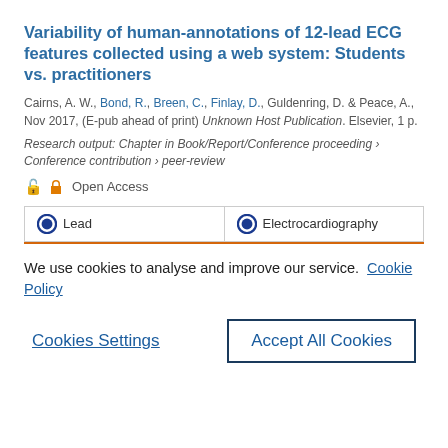Variability of human-annotations of 12-lead ECG features collected using a web system: Students vs. practitioners
Cairns, A. W., Bond, R., Breen, C., Finlay, D., Guldenring, D. & Peace, A., Nov 2017, (E-pub ahead of print) Unknown Host Publication. Elsevier, 1 p.
Research output: Chapter in Book/Report/Conference proceeding › Conference contribution › peer-review
Open Access
Lead	Electrocardiography
We use cookies to analyse and improve our service. Cookie Policy
Cookies Settings
Accept All Cookies